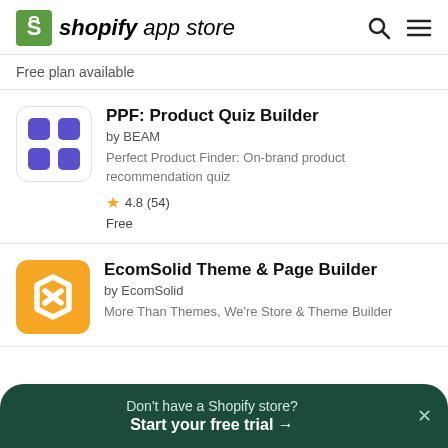shopify app store
Free plan available
[Figure (logo): PPF: Product Quiz Builder app icon — purple grid of 4 squares on white background]
PPF: Product Quiz Builder
by BEAM
Perfect Product Finder: On-brand product recommendation quiz
★ 4.8 (54)
Free
[Figure (logo): EcomSolid app icon — white chain/link symbol on orange background]
EcomSolid Theme & Page Builder
by EcomSolid
More Than Themes, We're Store & Theme Builder
Don't have a Shopify store? Start your free trial →